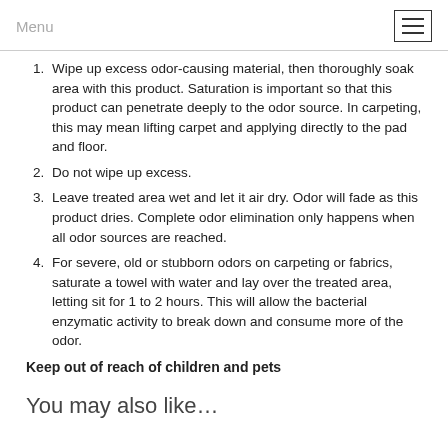Menu
Wipe up excess odor-causing material, then thoroughly soak area with this product. Saturation is important so that this product can penetrate deeply to the odor source. In carpeting, this may mean lifting carpet and applying directly to the pad and floor.
Do not wipe up excess.
Leave treated area wet and let it air dry. Odor will fade as this product dries. Complete odor elimination only happens when all odor sources are reached.
For severe, old or stubborn odors on carpeting or fabrics, saturate a towel with water and lay over the treated area, letting sit for 1 to 2 hours. This will allow the bacterial enzymatic activity to break down and consume more of the odor.
Keep out of reach of children and pets
You may also like…